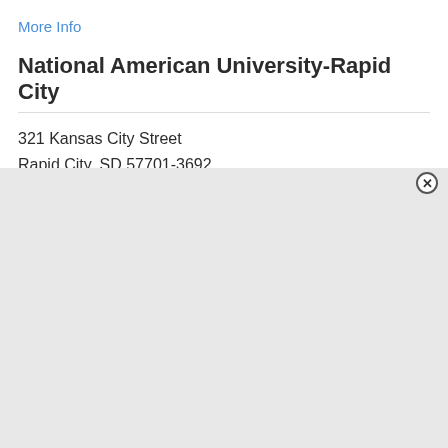More Info
National American University-Rapid City
321 Kansas City Street
Rapid City, SD 57701-3692